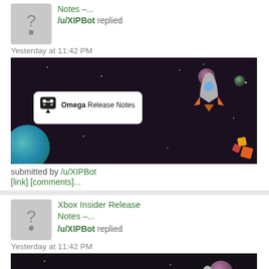[Figure (screenshot): Thumbnail placeholder with question mark icon for Xbox Insider Release Notes post]
Xbox Insider Release Notes –...
/u/XIPBot replied
Yesterday at 11:42 PM
[Figure (screenshot): Omega Release Notes banner image with space theme, Xbox controller chat bubble icon, and colorful rocket]
submitted by /u/XIPBot
[link] [comments]...
[Figure (screenshot): Thumbnail placeholder with question mark icon for Xbox Insider Release Notes post]
Xbox Insider Release Notes –...
/u/XIPBot replied
Yesterday at 11:42 PM
[Figure (screenshot): Beta Ring Release Notes banner image with space theme, Xbox controller chat bubble icon, and colorful rocket]
submitted by /u/XIPBot
[link] [comments]...